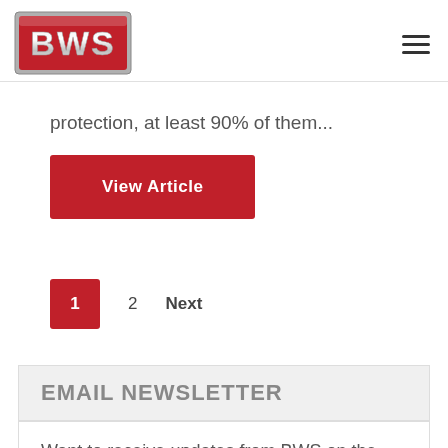[Figure (logo): BWS logo with red background and silver metallic lettering, rectangular border]
protection, at least 90% of them...
View Article
1  2  Next
EMAIL NEWSLETTER
Want to receive updates from BWS on the fly? Join our newsletter!